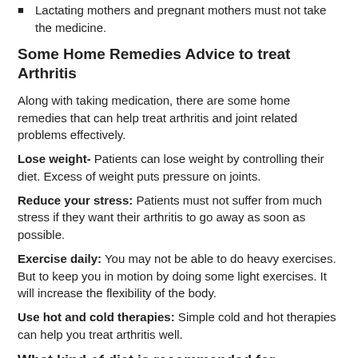Lactating mothers and pregnant mothers must not take the medicine.
Some Home Remedies Advice to treat Arthritis
Along with taking medication, there are some home remedies that can help treat arthritis and joint related problems effectively.
Lose weight- Patients can lose weight by controlling their diet. Excess of weight puts pressure on joints.
Reduce your stress: Patients must not suffer from much stress if they want their arthritis to go away as soon as possible.
Exercise daily: You may not be able to do heavy exercises. But to keep you in motion by doing some light exercises. It will increase the flexibility of the body.
Use hot and cold therapies: Simple cold and hot therapies can help you treat arthritis well.
What kind of diet is recommended for Arthritis?
For Arthritis, you need to have a balanced diet rich in...